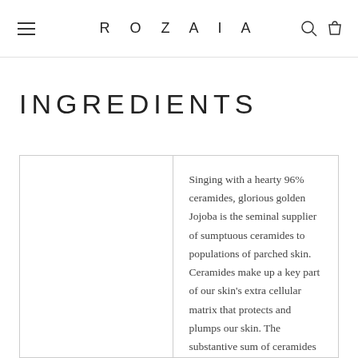ROZAIA
INGREDIENTS
Singing with a hearty 96% ceramides, glorious golden Jojoba is the seminal supplier of sumptuous ceramides to populations of parched skin. Ceramides make up a key part of our skin's extra cellular matrix that protects and plumps our skin. The substantive sum of ceramides in Jojoba oil are very similar to those in the skin,